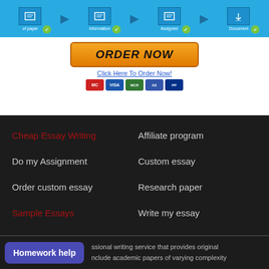[Figure (infographic): Blue banner with 4 step icons and green checkmarks, showing order process steps]
[Figure (infographic): Orange ORDER NOW button with Click Here To Order Now link and payment icons below]
Cheap Essay Writing
Do my Assignment
Order custom essay
Sample Essays
Custom term paper
Write My Research Paper
Affiliate program
Custom essay
Research paper
Write my essay
Write my paper
Essay writers
Homework help
ssional writing service that provides original nclude academic papers of varying complexity